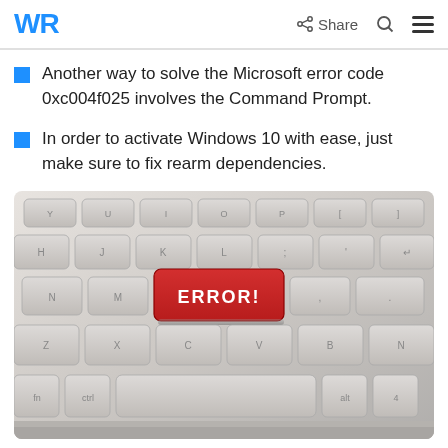WR | Share
Another way to solve the Microsoft error code 0xc004f025 involves the Command Prompt.
In order to activate Windows 10 with ease, just make sure to fix rearm dependencies.
[Figure (photo): Close-up photo of a laptop keyboard with one red key labeled ERROR! in white bold text, surrounded by standard light gray keys]